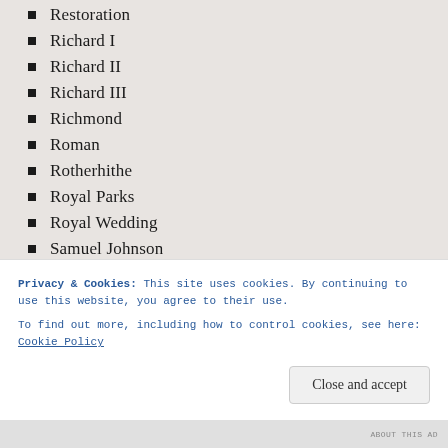Restoration
Richard I
Richard II
Richard III
Richmond
Roman
Rotherhithe
Royal Parks
Royal Wedding
Samuel Johnson
Samuel Pepys
Saxon
Sherlock Holmes
Shooters Hill
Shoreditch
Privacy & Cookies: This site uses cookies. By continuing to use this website, you agree to their use. To find out more, including how to control cookies, see here: Cookie Policy
Close and accept